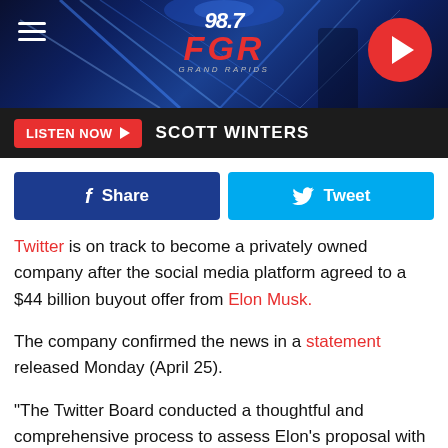[Figure (screenshot): 98.7 FGR Grand Rapids radio station website header with blue laser background and red play button]
LISTEN NOW ▶  SCOTT WINTERS
[Figure (infographic): Facebook Share and Twitter Tweet social sharing buttons]
Twitter is on track to become a privately owned company after the social media platform agreed to a $44 billion buyout offer from Elon Musk.
The company confirmed the news in a statement released Monday (April 25).
"The Twitter Board conducted a thoughtful and comprehensive process to assess Elon's proposal with a deliberate focus on value, certainty and financing," Bret Taylor, Twitter's independent board chair, said. "The proposed transaction will deliver a substantial cash premium, and we